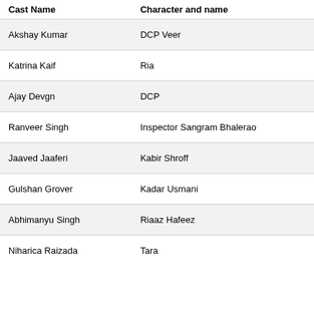| Cast Name | Character and name |
| --- | --- |
| Akshay Kumar | DCP Veer |
| Katrina Kaif | Ria |
| Ajay Devgn | DCP |
| Ranveer Singh | Inspector Sangram Bhalerao |
| Jaaved Jaaferi | Kabir Shroff |
| Gulshan Grover | Kadar Usmani |
| Abhimanyu Singh | Riaaz Hafeez |
| Niharica Raizada | Tara |